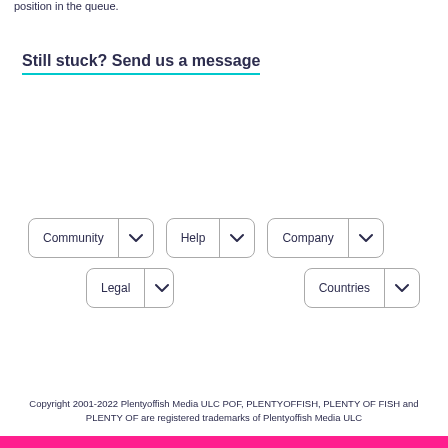position in the queue.
Still stuck? Send us a message
[Figure (screenshot): Five navigation dropdown buttons: Community, Help, Company (row 1), Legal, Countries (row 2)]
Copyright 2001-2022 Plentyoffish Media ULC POF, PLENTYOFFISH, PLENTY OF FISH and PLENTY OF are registered trademarks of Plentyoffish Media ULC